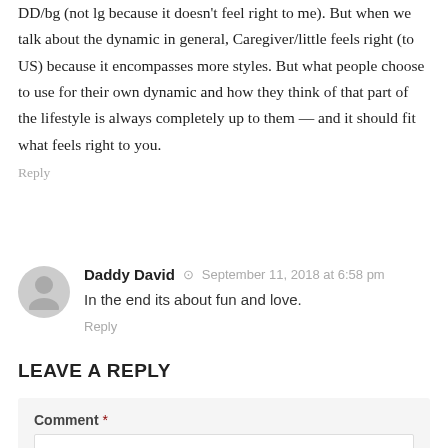DD/bg (not lg because it doesn't feel right to me). But when we talk about the dynamic in general, Caregiver/little feels right (to US) because it encompasses more styles. But what people choose to use for their own dynamic and how they think of that part of the lifestyle is always completely up to them — and it should fit what feels right to you.
Reply
Daddy David · September 11, 2018 at 6:58 pm
In the end its about fun and love.
Reply
LEAVE A REPLY
Comment *